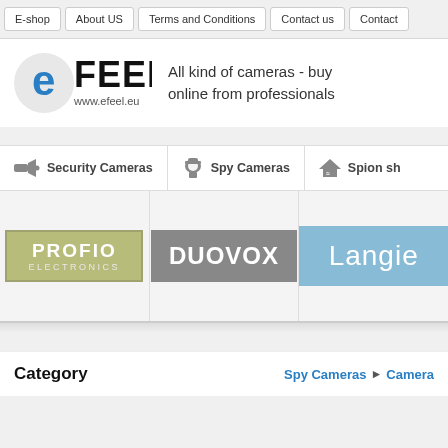E-shop | About US | Terms and Conditions | Contact us | Contact
[Figure (logo): eFEEL logo with blue circle 'e' icon and text 'FEEL www.efeel.eu']
All kind of cameras - buy online from professionals
Security Cameras
Spy Cameras
Spion sh
[Figure (logo): Profio Electronics logo - olive/yellow-green background with white text]
[Figure (logo): Duovox logo - grey background with white bold text]
[Figure (logo): Langie logo - light blue background with white text (partially visible)]
Category
Spy Cameras › Camera